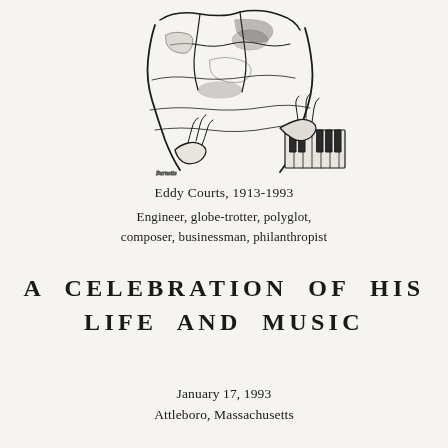[Figure (illustration): Black and white sketch/illustration of a person (Eddy Courts) playing piano or seated at a keyboard, shown from the torso area with hands visible on keys. Loose, expressive line-art style.]
Eddy Courts, 1913-1993
Engineer, globe-trotter, polyglot, composer, businessman, philanthropist
A CELEBRATION OF HIS LIFE AND MUSIC
January 17, 1993
Attleboro, Massachusetts